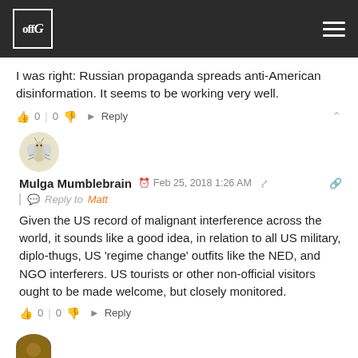offG
I was right: Russian propaganda spreads anti-American disinformation. It seems to be working very well.
👍 0  |  0 👎   ➜ Reply
[Figure (illustration): Round avatar icon showing a cartoon insect/bug character on a beige/cream circular background]
Mulga Mumblebrain  Feb 25, 2018 1:26 AM  🔗
Reply to Matt
Given the US record of malignant interference across the world, it sounds like a good idea, in relation to all US military, diplo-thugs, US 'regime change' outfits like the NED, and NGO interferers. US tourists or other non-official visitors ought to be made welcome, but closely monitored.
👍 0  |  0 👎   ➜ Reply
[Figure (illustration): Round avatar icon showing a small figure, partial view at bottom of page]